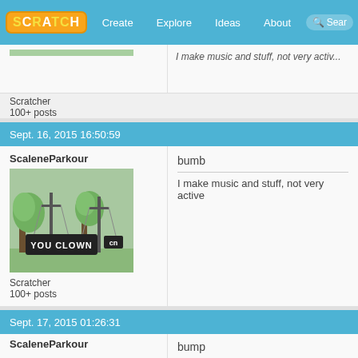Scratch | Create | Explore | Ideas | About
I make music and stuff, not very active... (partial, clipped top)
Scratcher
100+ posts
Sept. 16, 2015 16:50:59
ScaleneParkour
Scratcher
100+ posts
bumb
I make music and stuff, not very active
Sept. 17, 2015 01:26:31
ScaleneParkour
bump